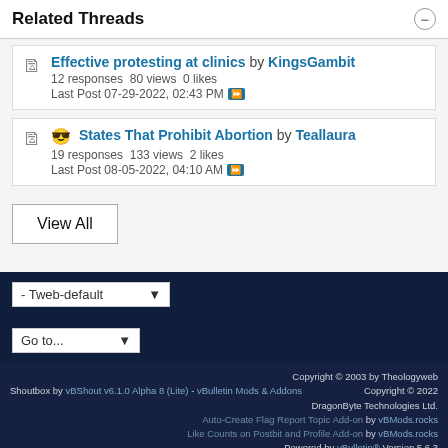Related Threads
Effective protesting at clinics by KingsGambit
12 responses 80 views 0 likes
Last Post 07-29-2022, 02:43 PM
States That Prohibit Abortion by Teallaura
19 responses 133 views 2 likes
Last Post 08-05-2022, 04:10 AM
View All
- Tweb-default
Go to...
Copyright © 2003 by Theologyweb
Shoutbox by vBShout v6.1.0 Alpha 8 (Lite) - vBulletin Mods & Addons Copyright © 2022 DragonByte Technologies Ltd.
Auto-Create Flag Report Topic Add-on by vBMods.rocks
Like Counts on Postbit and Profile Add-on by vBMods.rocks
Powered by vBulletin® Version 5.6.3
Copyright © 2022 MH Sub I, LLC dba vBulletin. All rights reserved.
All times are GMT-5. This page was generated at 12:51 PM.